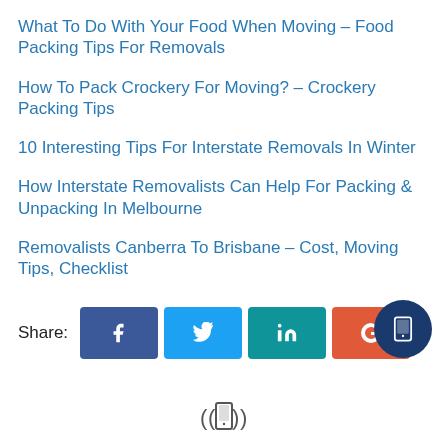What To Do With Your Food When Moving – Food Packing Tips For Removals
How To Pack Crockery For Moving? – Crockery Packing Tips
10 Interesting Tips For Interstate Removals In Winter
How Interstate Removalists Can Help For Packing & Unpacking In Melbourne
Removalists Canberra To Brisbane – Cost, Moving Tips, Checklist
[Figure (infographic): Share buttons row with Facebook, Twitter, LinkedIn, Google social media icons, and a floating mobile/phone FAB button]
[Figure (infographic): Bottom bar with phone icon and signal waves suggesting a call-to-action]